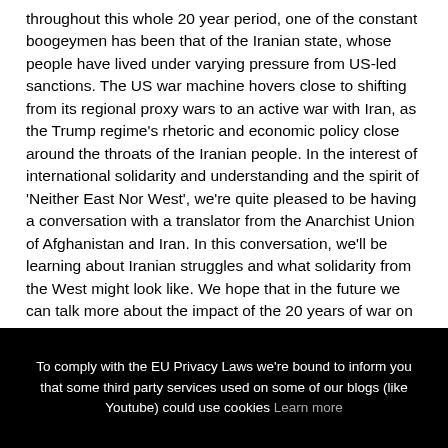throughout this whole 20 year period, one of the constant boogeymen has been that of the Iranian state, whose people have lived under varying pressure from US-led sanctions. The US war machine hovers close to shifting from its regional proxy wars to an active war with Iran, as the Trump regime's rhetoric and economic policy close around the throats of the Iranian people. In the interest of international solidarity and understanding and the spirit of 'Neither East Nor West', we're quite pleased to be having a conversation with a translator from the Anarchist Union of Afghanistan and Iran. In this conversation, we'll be learning about Iranian struggles and what solidarity from the West might look like. We hope that in the future we can talk more about the impact of the 20 years of war on the peoples of Afghanistan, perpetrated by the US government at its allies, and the work of anti-authoritarians on the ground.
To comply with the EU Privacy Laws we're bound to inform you that some third party services used on some of our blogs (like Youtube) could use cookies Learn more